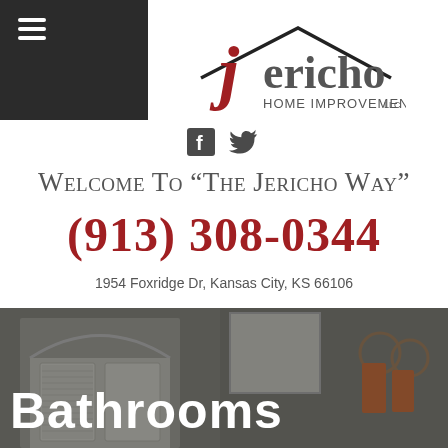Navigation menu icon (hamburger)
[Figure (logo): Jericho Home Improvements LLC logo with red brick J and roofline graphic]
[Figure (infographic): Social media icons: Facebook and Twitter]
Welcome To “The Jericho Way”
(913) 308-0344
1954 Foxridge Dr, Kansas City, KS 66106
[Figure (photo): Bathroom interior photo showing door, cabinet, and towel rack]
Bathrooms